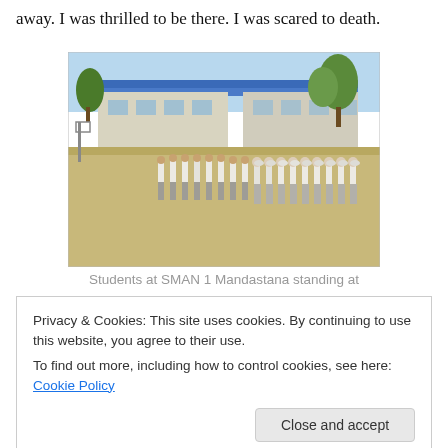away. I was thrilled to be there. I was scared to death.
[Figure (photo): Students at SMAN 1 Mandastana standing at attention in a school courtyard, with a blue-roofed school building and trees in the background.]
Students at SMAN 1 Mandastana standing at
Privacy & Cookies: This site uses cookies. By continuing to use this website, you agree to their use.
To find out more, including how to control cookies, see here: Cookie Policy
Close and accept